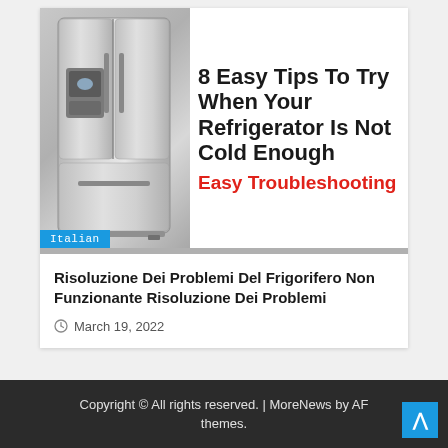[Figure (photo): Promotional banner image showing a stainless steel French-door refrigerator on the left, with bold black text on white background on the right reading '8 Easy Tips To Try When Your Refrigerator Is Not Cold Enough' and red text 'Easy Troubleshooting'. A cyan 'Italian' label tag is at the bottom left of the image.]
Risoluzione Dei Problemi Del Frigorifero Non Funzionante Risoluzione Dei Problemi
March 19, 2022
Copyright © All rights reserved. | MoreNews by AF themes.